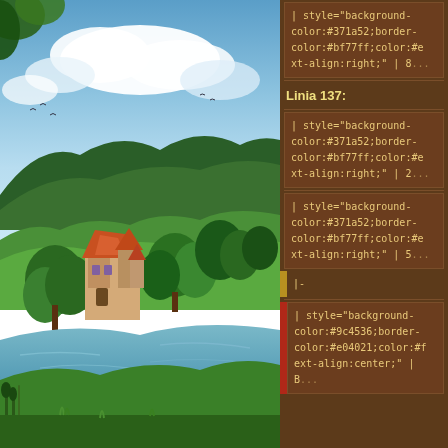[Figure (illustration): Fantasy landscape illustration showing a riverside scene with a fairy-tale style building with orange rooftops, lush green trees, rolling hills, a calm river in the foreground, blue sky with clouds, and birds in the distance.]
| style="background-color:#371a52;border-color:#bf77ff;color:#ext-align:right;" | 8...
Linia 137:
| style="background-color:#371a52;border-color:#bf77ff;color:#ext-align:right;" | 2...
| style="background-color:#371a52;border-color:#bf77ff;color:#ext-align:right;" | 5...
|-
| style="background-color:#9c4536;border-color:#e04021;color:#fext-align:center;" | B...